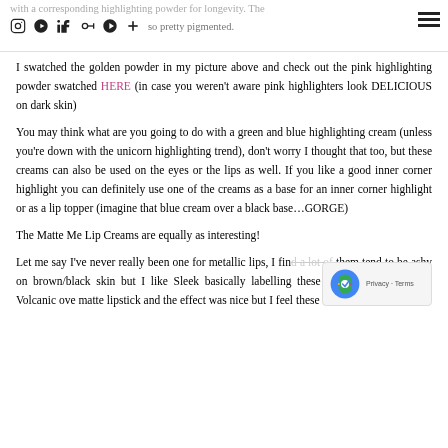with a corresponding highlighting powder for longevity. The swatches in picture are so pretty pigmented.
I swatched the golden powder in my picture above and check out the pink highlighting powder swatched HERE (in case you weren't aware pink highlighters look DELICIOUS on dark skin)
You may think what are you going to do with a green and blue highlighting cream (unless you're down with the unicorn highlighting trend), don't worry I thought that too, but these creams can also be used on the eyes or the lips as well. If you like a good inner corner highlight you can definitely use one of the creams as a base for an inner corner highlight or as a lip topper (imagine that blue cream over a black base…GORGE)
The Matte Me Lip Creams are equally as interesting!
Let me say I've never really been one for metallic lips, I find a lot of them tend to be ashy on brown/black skin but I like Sleek basically labelling these as lip toppers. I used Volcanic ove matte lipstick and the effect was nice but I feel these would be much